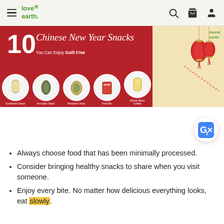Love Earth — navigation bar with hamburger menu, logo, search, cart, and user icons
[Figure (infographic): Banner ad: '10 Chinese New Year Snacks You Can Enjoy Guilt Free' on a red and cream background with Love Earth logo and 5 product circles (Sunflower Seed, Pumpkin Seed, Pistachio Nuts, Trail Mix, Whole Bean Coffee)]
[Figure (logo): Google Translate floating button icon (blue G with arrows)]
Always choose food that has been minimally processed.
Consider bringing healthy snacks to share when you visit someone.
Enjoy every bite. No matter how delicious everything looks, eat slowly.